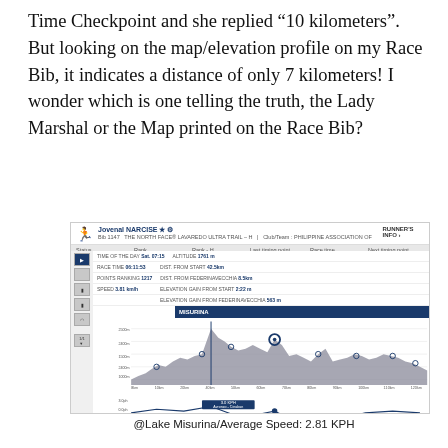Time Checkpoint and she replied “10 kilometers”. But looking on the map/elevation profile on my Race Bib, it indicates a distance of only 7 kilometers! I wonder which is one telling the truth, the Lady Marshal or the Map printed on the Race Bib?
[Figure (screenshot): Screenshot of a race tracking website showing runner Jovenal NARCISE, Bib 1147, THE NORTH FACE® LAVAREDO ULTRA TRAIL - H, Club/Team: PHILIPPINE ASSOCIATION OF, RUNNER'S INFO. Status: In race..., Rank: 1447, Rank-H: 1253, Last timing point: Sat. 13:47 Cimabanche, Race time: 14:42:54, Next timing point: Sat. 17:14 Malga Ra Stua / Sun. 01:20 Col Gallina. Elevation profile chart with tooltip showing MISURINA checkpoint highlighted. Speed chart below showing speed over distance with Avronzo-Cinabian label.]
@Lake Misurina/Average Speed: 2.81 KPH